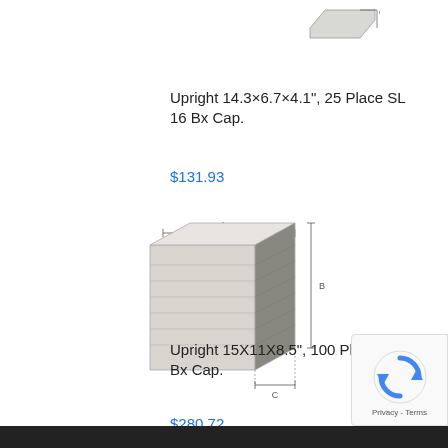[Figure (schematic): Partial top view of a box/rack unit diagram (cropped at top of page)]
Upright 14.3×6.7×4.1", 25 Place SL 16 Bx Cap.
$131.93
[Figure (engineering-diagram): Isometric technical drawing of an upright freezer rack/box unit with shelves, labeled with dimension arrows A (width), B (height), C (depth)]
Upright 15X11X8.5", 100 Place SL, 14 Bx Cap.
$280.72